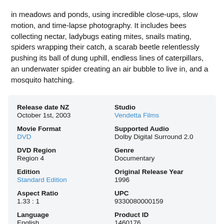in meadows and ponds, using incredible close-ups, slow motion, and time-lapse photography. It includes bees collecting nectar, ladybugs eating mites, snails mating, spiders wrapping their catch, a scarab beetle relentlessly pushing its ball of dung uphill, endless lines of caterpillars, an underwater spider creating an air bubble to live in, and a mosquito hatching.
| Field | Value |
| --- | --- |
| Release date NZ | October 1st, 2003 |
| Studio | Vendetta Films |
| Movie Format | DVD |
| Supported Audio | Dolby Digital Surround 2.0 |
| DVD Region | Region 4 |
| Genre | Documentary |
| Edition | Standard Edition |
| Original Release Year | 1996 |
| Aspect Ratio | 1.33 : 1 |
| UPC | 9330080000159 |
| Language | English |
| Product ID | 1460176 |
| Length (Minutes) | 77 |